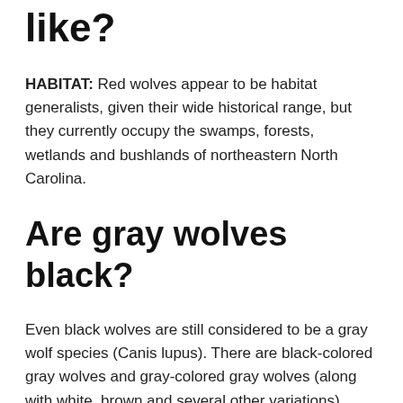like?
HABITAT: Red wolves appear to be habitat generalists, given their wide historical range, but they currently occupy the swamps, forests, wetlands and bushlands of northeastern North Carolina.
Are gray wolves black?
Even black wolves are still considered to be a gray wolf species (Canis lupus). There are black-colored gray wolves and gray-colored gray wolves (along with white, brown and several other variations).
What is the most deadliest wolf in the world?